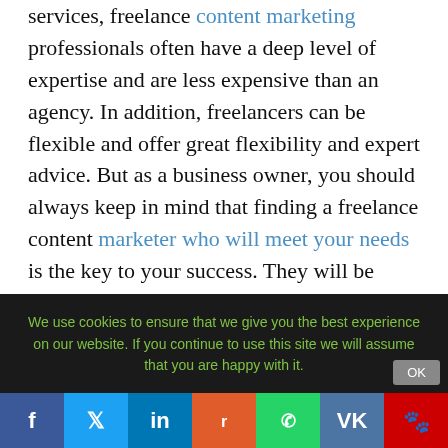services, freelance content marketing professionals often have a deep level of expertise and are less expensive than an agency. In addition, freelancers can be flexible and offer great flexibility and expert advice. But as a business owner, you should always keep in mind that finding a freelance content marketer who will meet your needs is the key to your success. They will be more than happy to do whatever they can to help you with your project.
We use cookies to ensure that we give you the best experience on our website. If you continue to use this site we will assume that you are happy with it.
[Figure (infographic): Social sharing bar with Facebook, Twitter, LinkedIn, Reddit, WhatsApp, VK, and Baidu icons]